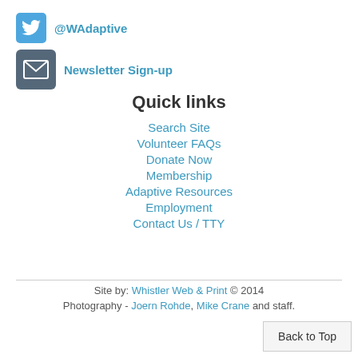@WAdaptive
Newsletter Sign-up
Quick links
Search Site
Volunteer FAQs
Donate Now
Membership
Adaptive Resources
Employment
Contact Us / TTY
Site by: Whistler Web & Print © 2014 Photography - Joern Rohde, Mike Crane and staff.